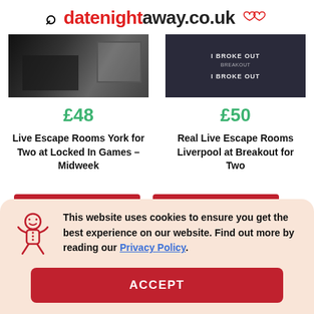datenightaway.co.uk
[Figure (photo): Black and white photo of a dark window/door scene for escape room]
[Figure (photo): Photo showing people holding 'I Broke Out' signs at Breakout escape room]
£48
£50
Live Escape Rooms York for Two at Locked In Games – Midweek
Real Live Escape Rooms Liverpool at Breakout for Two
This website uses cookies to ensure you get the best experience on our website. Find out more by reading our Privacy Policy.
ACCEPT